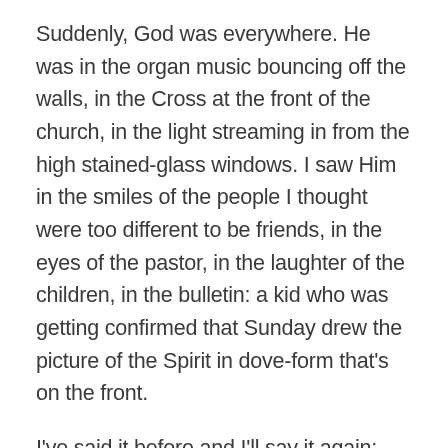Suddenly, God was everywhere. He was in the organ music bouncing off the walls, in the Cross at the front of the church, in the light streaming in from the high stained-glass windows. I saw Him in the smiles of the people I thought were too different to be friends, in the eyes of the pastor, in the laughter of the children, in the bulletin: a kid who was getting confirmed that Sunday drew the picture of the Spirit in dove-form that's on the front.
I've said it before and I'll say it again: Jesus always shows up. Even if it's not in the way we expect him to.